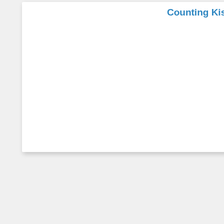Counting Kisses: A Kiss & Read Bo…